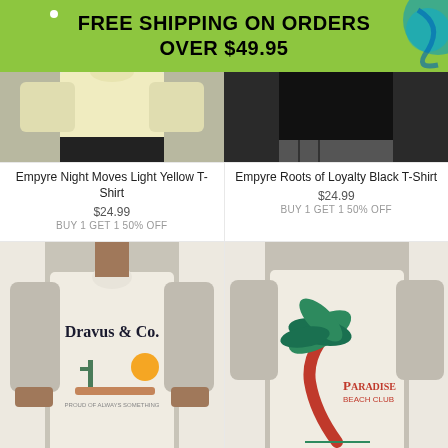FREE SHIPPING ON ORDERS OVER $49.95
[Figure (photo): Empyre Night Moves Light Yellow T-Shirt product photo, cropped torso view]
[Figure (photo): Empyre Roots of Loyalty Black T-Shirt product photo, cropped torso view against black background]
Empyre Night Moves Light Yellow T-Shirt
$24.99
BUY 1 GET 1 50% OFF
Empyre Roots of Loyalty Black T-Shirt
$24.99
BUY 1 GET 1 50% OFF
[Figure (photo): Dravus & Co. cream/natural t-shirt with desert scene graphic, front view on male model]
[Figure (photo): Paradise Beach Club cream t-shirt with palm tree graphic, back view on male model]
Dravus Tradin...
Empyre Paradise Club Nat...